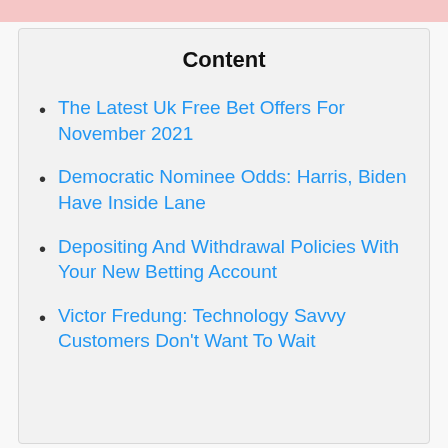Content
The Latest Uk Free Bet Offers For November 2021
Democratic Nominee Odds: Harris, Biden Have Inside Lane
Depositing And Withdrawal Policies With Your New Betting Account
Victor Fredung: Technology Savvy Customers Don't Want To Wait